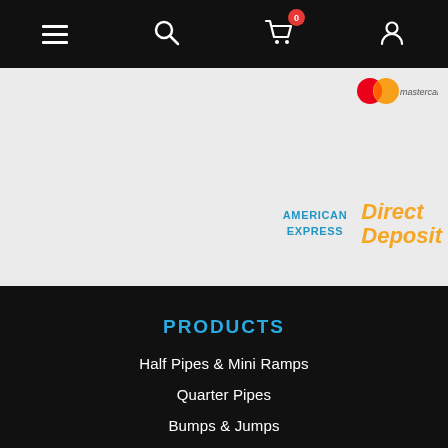Navigation bar with hamburger menu, search, cart (0 items), user icon
[Figure (logo): Mastercard logo in upper right of grey section]
[Figure (logo): American Express logo]
[Figure (logo): Direct Deposit logo in orange italic]
PRODUCTS
Half Pipes & Mini Ramps
Quarter Pipes
Bumps & Jumps
Boxes & Ledges
Custom Skate Ramps